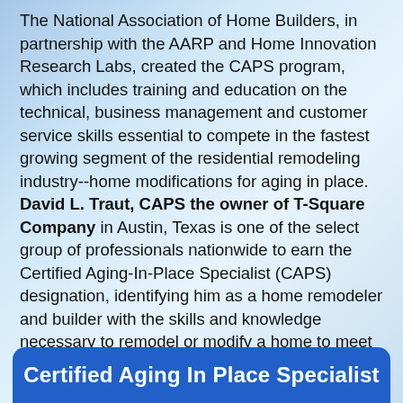The National Association of Home Builders, in partnership with the AARP and Home Innovation Research Labs, created the CAPS program, which includes training and education on the technical, business management and customer service skills essential to compete in the fastest growing segment of the residential remodeling industry--home modifications for aging in place.  David L. Traut, CAPS the owner of T-Square Company in Austin, Texas is one of the select group of professionals nationwide to earn the Certified Aging-In-Place Specialist (CAPS) designation, identifying him as a home remodeler and builder with the skills and knowledge necessary to remodel or modify a home to meet the unique needs of the older population, disabled owners, or their visitors.  We are able to offer complete services concerning disability renovations beginning with our design/build philosophy.
Certified Aging In Place Specialist